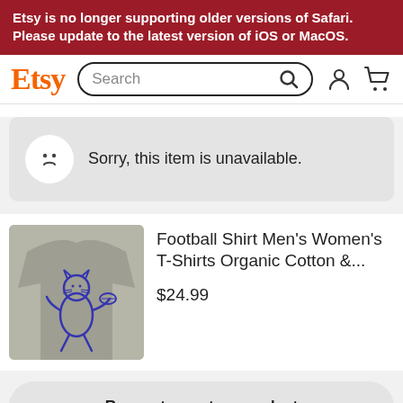Etsy is no longer supporting older versions of Safari. Please update to the latest version of iOS or MacOS.
[Figure (screenshot): Etsy navigation bar with logo, search bar, user icon, and cart icon]
Sorry, this item is unavailable.
[Figure (photo): Gray t-shirt with a blue cat playing football illustration]
Football Shirt Men's Women's T-Shirts Organic Cotton &...
$24.99
Request a custom product